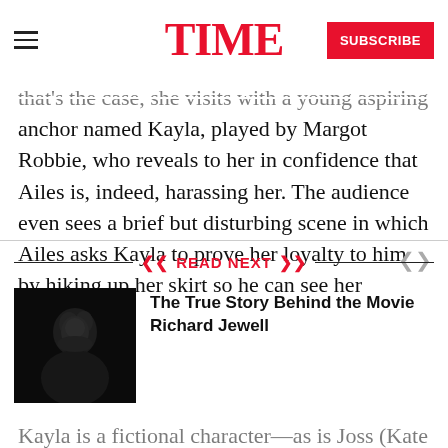TIME — SUBSCRIBE
that's the case, she visits with a young aspiring anchor named Kayla, played by Margot Robbie, who reveals to her in confidence that Ailes is, indeed, harassing her. The audience even sees a brief but disturbing scene in which Ailes asks Kayla to prove her loyalty to him by hiking up her skirt so he can see her underwear.
Kayla is a fictional character—as is Joss (Kate
READ NEXT
[Figure (photo): Dark portrait photo of a man with curly hair against dark background]
The True Story Behind the Movie Richard Jewell